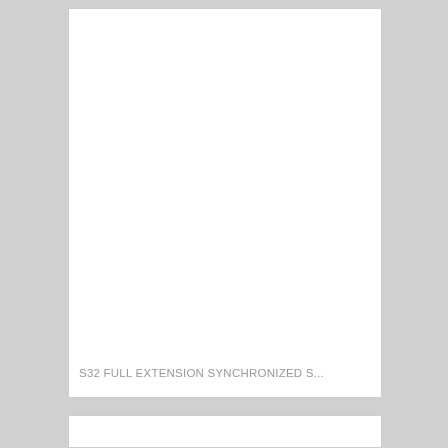[Figure (photo): Product image card (white/blank area) for S32 Full Extension Synchronized Slide]
S32 FULL EXTENSION SYNCHRONIZED S...
[Figure (photo): Second product image card (white/blank area), partially visible at bottom]